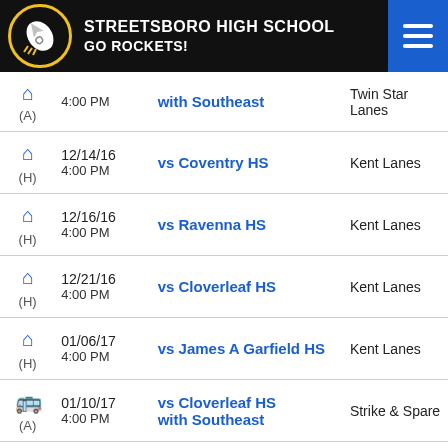STREETSBORO HIGH SCHOOL GO ROCKETS!
| Icon/Type | Date/Time | Opponent | Location |
| --- | --- | --- | --- |
| (A) | 4:00 PM | with Southeast | Twin Star Lanes |
| (H) | 12/14/16 4:00 PM | vs Coventry HS | Kent Lanes |
| (H) | 12/16/16 4:00 PM | vs Ravenna HS | Kent Lanes |
| (H) | 12/21/16 4:00 PM | vs Cloverleaf HS | Kent Lanes |
| (H) | 01/06/17 4:00 PM | vs James A Garfield HS | Kent Lanes |
| (A) | 01/10/17 4:00 PM | vs Cloverleaf HS with Southeast | Strike & Spare |